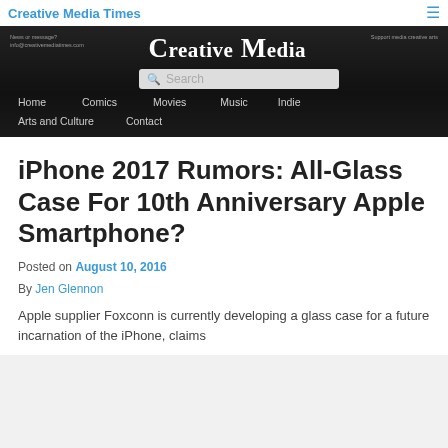Creative Media Times
[Figure (screenshot): Creative Media website header banner with logo 'Creative Media', navigation links (Home, Comics, Movies, Music, Indie, Arts and Culture, Contact), and a search box. Dark background.]
iPhone 2017 Rumors: All-Glass Case For 10th Anniversary Apple Smartphone?
Posted on August 10, 2016
By Jen Glennon
Apple supplier Foxconn is currently developing a glass case for a future incarnation of the iPhone, claims